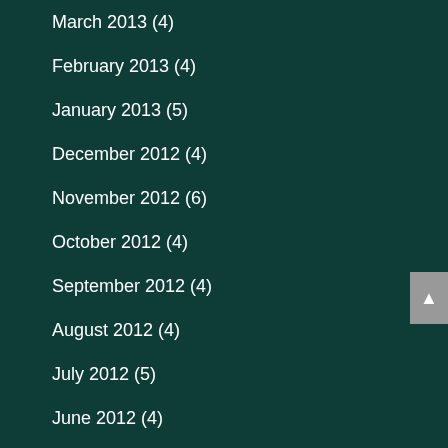March 2013 (4)
February 2013 (4)
January 2013 (5)
December 2012 (4)
November 2012 (6)
October 2012 (4)
September 2012 (4)
August 2012 (4)
July 2012 (5)
June 2012 (4)
May 2012 (5)
April 2012 (3)